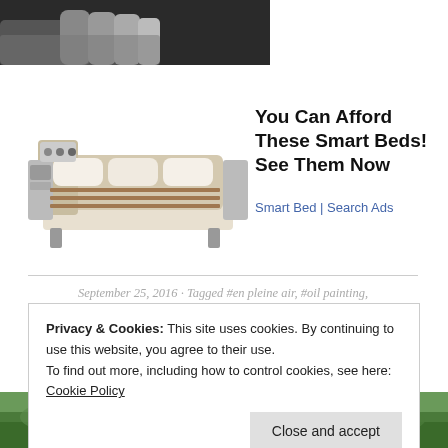[Figure (photo): Partial view of a hand against dark background (cropped photo at top of page)]
[Figure (photo): Smart bed / luxury multi-function bed with side tables, massage features, and modular components]
You Can Afford These Smart Beds! See Them Now
Smart Bed | Search Ads
September 25, 2016 · Tagged #en pleine air, #oil painting, #smallpaintings, #still-life, #Tuscany, landscape painting, SW France · 2 Comments
[Figure (photo): Landscape painting / green outdoor scene (partially visible at bottom of page)]
Privacy & Cookies: This site uses cookies. By continuing to use this website, you agree to their use.
To find out more, including how to control cookies, see here: Cookie Policy
Close and accept